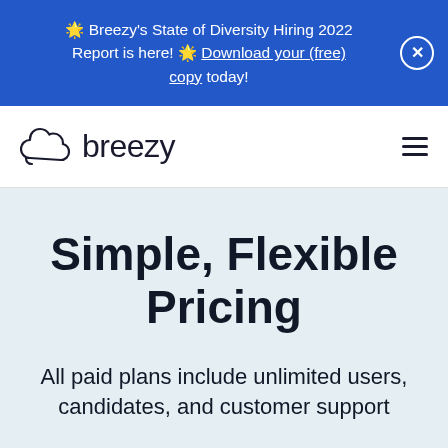🌟 Breezy's State of Diversity Hiring 2022 Report is here! 🌟 Download your (free) copy today!
[Figure (logo): Breezy HR logo with cloud icon and text 'breezy']
Simple, Flexible Pricing
All paid plans include unlimited users, candidates, and customer support